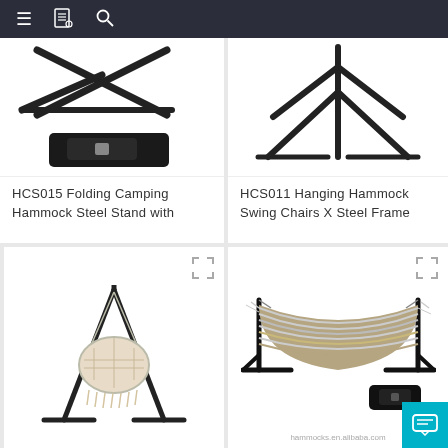Navigation bar with menu, book, and search icons
[Figure (photo): HCS015 Folding Camping Hammock Steel Stand with carrying bag, black metal frame folded flat, and black rectangular carrying bag below]
HCS015 Folding Camping Hammock Steel Stand with
[Figure (photo): HCS011 Hanging Hammock Swing Chairs X Steel Frame, black metal X-shaped stand]
HCS011 Hanging Hammock Swing Chairs X Steel Frame
[Figure (photo): Macrame swing chair on black A-frame steel stand with fringe hanging seat]
[Figure (photo): Striped hammock in tan and grey/white on black steel stand with carrying bag, watermark hammocks.en.alibaba.com]